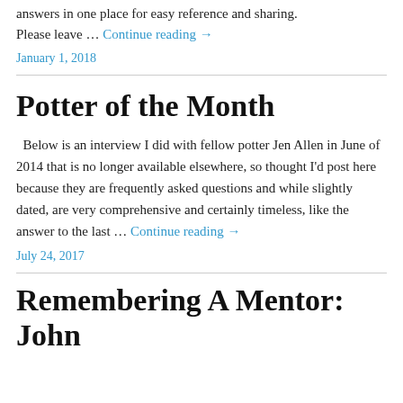answers in one place for easy reference and sharing. Please leave … Continue reading →
January 1, 2018
Potter of the Month
Below is an interview I did with fellow potter Jen Allen in June of 2014 that is no longer available elsewhere, so thought I'd post here because they are frequently asked questions and while slightly dated, are very comprehensive and certainly timeless, like the answer to the last … Continue reading →
July 24, 2017
Remembering A Mentor: John